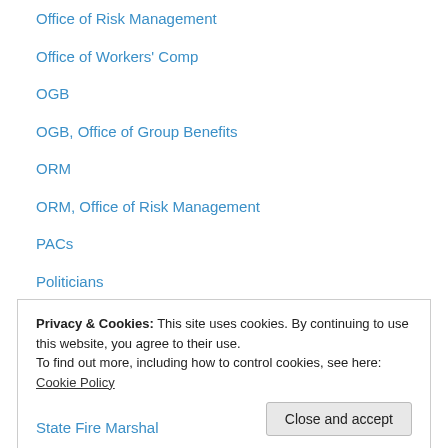Office of Risk Management
Office of Workers' Comp
OGB
OGB, Office of Group Benefits
ORM
ORM, Office of Risk Management
PACs
Politicians
Prison
Privatization
Public Records
Recovery School District
Regents
Privacy & Cookies: This site uses cookies. By continuing to use this website, you agree to their use. To find out more, including how to control cookies, see here: Cookie Policy
State Fire Marshal